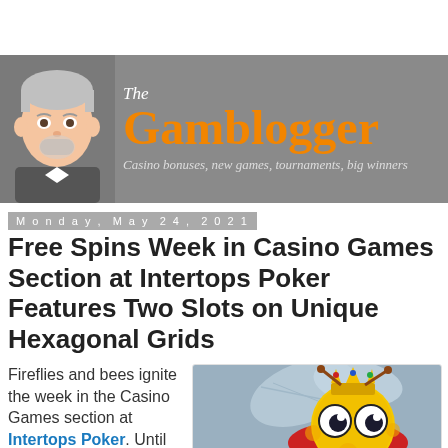The Gamblogger — Casino bonuses, new games, tournaments, big winners
Monday, May 24, 2021
Free Spins Week in Casino Games Section at Intertops Poker Features Two Slots on Unique Hexagonal Grids
Fireflies and bees ignite the week in the Casino Games section at Intertops Poker. Until May 31, get 40 free spins on
[Figure (illustration): Cartoon bee character with crown, large eyes, wings, on grey background]